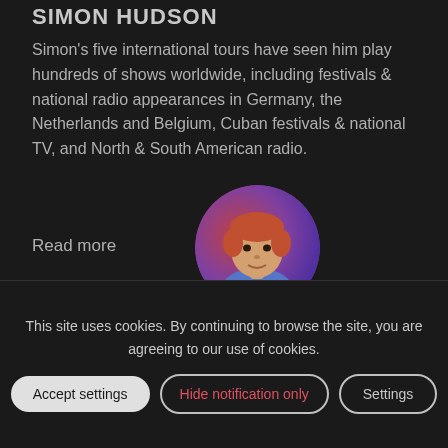SIMON HUDSON
Simon's five international tours have seen him play hundreds of shows worldwide, including festivals & national radio appearances in Germany, the Netherlands and Belgium, Cuban festivals & national TV, and North & South American radio.
Read more
[Figure (illustration): Circular portrait illustration of Simon Hudson, depicted with reddish-orange hair, wearing a blue shirt, against a red and purple background.]
[Figure (other): A circular spinner/loading ring outline in dark red/maroon color.]
LATEST VIDEOS
This site uses cookies. By continuing to browse the site, you are agreeing to our use of cookies.
Accept settings
Hide notification only
Settings